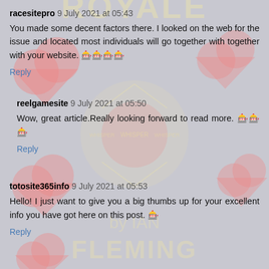racesitepro  9 July 2021 at 05:43
You made some decent factors there. I looked on the web for the issue and located most individuals will go together with together with your website. 🎰🎰🎰🎰
Reply
reelgamesite  9 July 2021 at 05:50
Wow, great article.Really looking forward to read more. 🎰🎰🎰
Reply
totosite365info  9 July 2021 at 05:53
Hello! I just want to give you a big thumbs up for your excellent info you have got here on this post. 🎰
Reply